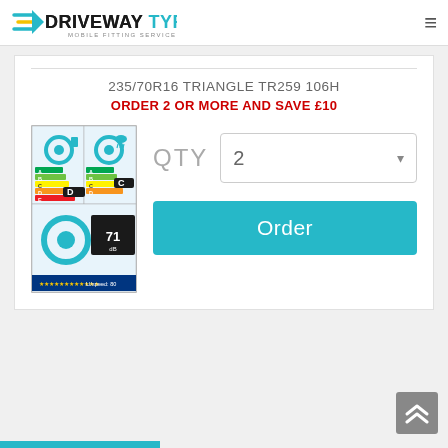[Figure (logo): Driveway Tyres .com mobile fitting service logo with speed lines]
235/70R16 TRIANGLE TR259 106H
ORDER 2 OR MORE AND SAVE £10
[Figure (other): EU tyre label showing fuel efficiency D, wet grip C, and noise level 71 dB]
QTY  2
Order